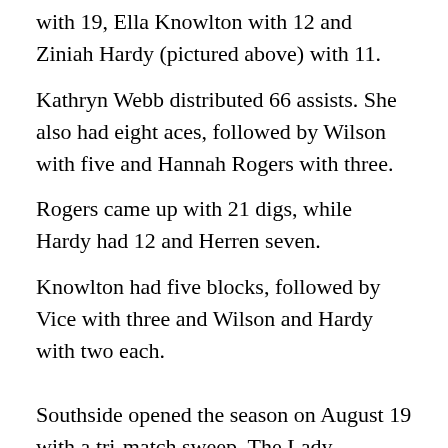with 19, Ella Knowlton with 12 and Ziniah Hardy (pictured above) with 11.
Kathryn Webb distributed 66 assists. She also had eight aces, followed by Wilson with five and Hannah Rogers with three.
Rogers came up with 21 digs, while Hardy had 12 and Herren seven.
Knowlton had five blocks, followed by Vice with three and Wilson and Hardy with two each.
Southside opened the season on August 19 with a tri-match sweep. The Lady Panthers beat Class 6A, Area 13 rival Pell City, 25-6, 25-19, 20-25, 25-10 and Ohatchee, 25-17, 25-18. Vice had 19 kills, five aces, three dogs and two blocks; Wilson had 17 kills and two blocks; Herren